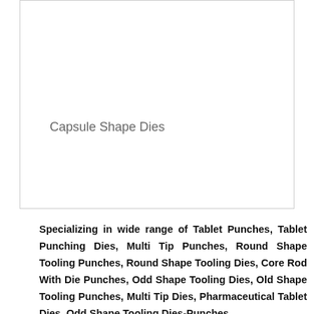[Figure (photo): Image area showing Capsule Shape Dies product with caption inside]
Specializing in wide range of Tablet Punches, Tablet Punching Dies, Multi Tip Punches, Round Shape Tooling Punches, Round Shape Tooling Dies, Core Rod With Die Punches, Odd Shape Tooling Dies, Old Shape Tooling Punches, Multi Tip Dies, Pharmaceutical Tablet Dies, Odd Shape Tooling Dies-Punches